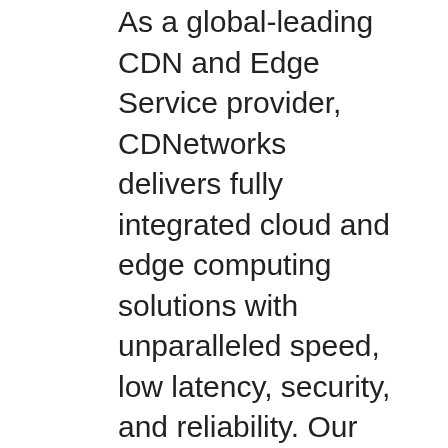As a global-leading CDN and Edge Service provider, CDNetworks delivers fully integrated cloud and edge computing solutions with unparalleled speed, low latency, security, and reliability. Our diverse products and services include web performance, media delivery, enterprise applications, and cloud security - all of which are designed to spur business innovation.
CDNetworks Co. Ltd
media@cdnetworks.com
SOURCE CDNetworks